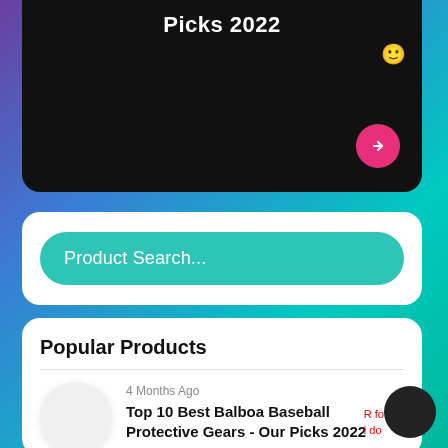Picks 2022
[Figure (screenshot): Product search bar with teal/turquoise pill-shaped input labeled 'Product Search...' on a white card]
Popular Products
4 Months Ago
Top 10 Best Balboa Baseball Protective Gears - Our Picks 2022